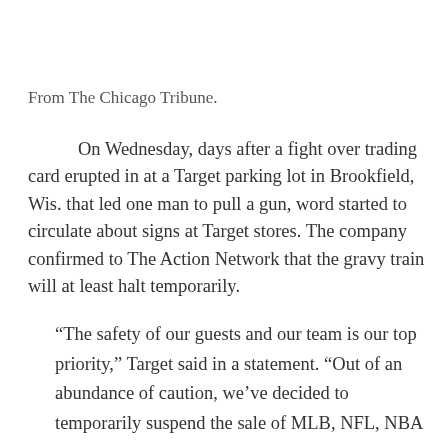From The Chicago Tribune.
On Wednesday, days after a fight over trading card erupted in at a Target parking lot in Brookfield, Wis. that led one man to pull a gun, word started to circulate about signs at Target stores. The company confirmed to The Action Network that the gravy train will at least halt temporarily.
“The safety of our guests and our team is our top priority,” Target said in a statement. “Out of an abundance of caution, we’ve decided to temporarily suspend the sale of MLB, NFL, NBA